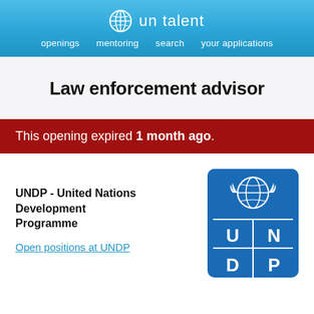un talent — openings  mentoring  search  your applications
Law enforcement advisor
This opening expired 1 month ago.
UNDP - United Nations Development Programme
Open positions at UNDP
[Figure (logo): UNDP logo: blue rounded rectangle with UN emblem at top and U N D P letters in 2x2 grid below]